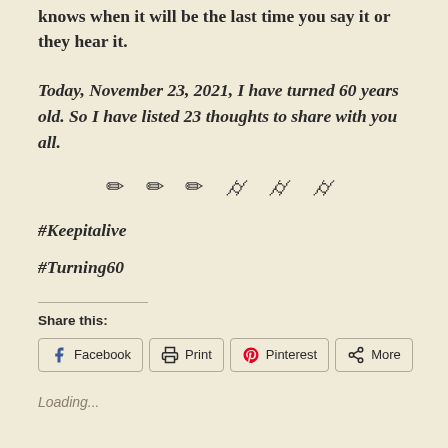knows when it will be the last time you say it or they hear it.
Today, November 23, 2021, I have turned 60 years old. So I have listed 23 thoughts to share with you all.
⌒ ⌒ ⌒
#Keepitalive
#Turning60
Share this:
Facebook  Print  Pinterest  More
Loading...